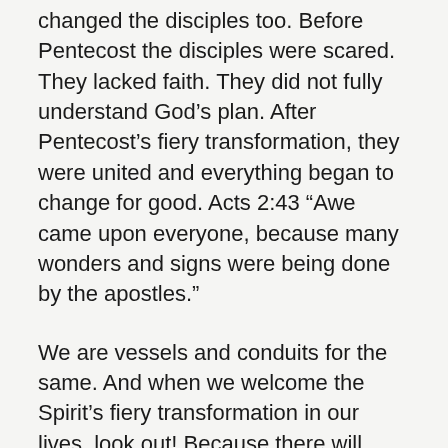changed the disciples too. Before Pentecost the disciples were scared. They lacked faith. They did not fully understand God’s plan. After Pentecost’s fiery transformation, they were united and everything began to change for good. Acts 2:43 “Awe came upon everyone, because many wonders and signs were being done by the apostles.”
We are vessels and conduits for the same. And when we welcome the Spirit’s fiery transformation in our lives, look out! Because there will always be a before and after for you, for me, for this church.
Today we welcome youth who went through confirmation class and we have asked them to share their witness of what life was like before and after they went through this class, growing in their